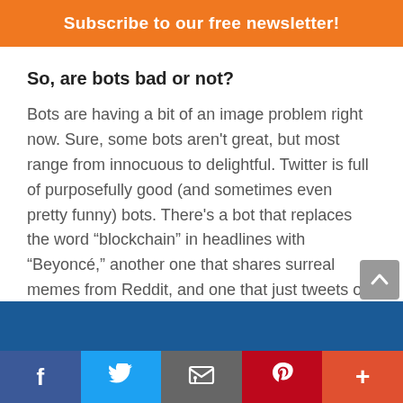Subscribe to our free newsletter!
So, are bots bad or not?
Bots are having a bit of an image problem right now. Sure, some bots aren't great, but most range from innocuous to delightful. Twitter is full of purposefully good (and sometimes even pretty funny) bots. There's a bot that replaces the word “blockchain” in headlines with “Beyoncé,” another one that shares surreal memes from Reddit, and one that just tweets out random verbs followed
Facebook | Twitter | Email | Pinterest | More